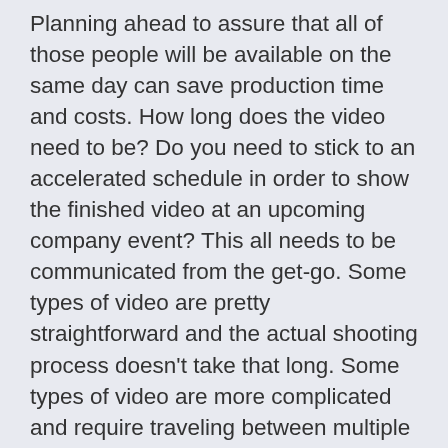Planning ahead to assure that all of those people will be available on the same day can save production time and costs. How long does the video need to be? Do you need to stick to an accelerated schedule in order to show the finished video at an upcoming company event? This all needs to be communicated from the get-go. Some types of video are pretty straightforward and the actual shooting process doesn't take that long. Some types of video are more complicated and require traveling between multiple locations on multiple days and weaving together a lot of moving parts to create one cohesive story in post-production. Most videos fall somewhere in between. An editor will often will require supplemental materials such as company graphics or additional supporting footage (“B-roll”) to fully flesh out the video. Obtaining these materials also factors into overall production time—another reason why